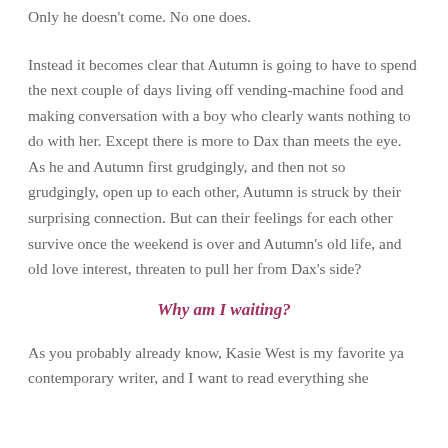Only he doesn't come. No one does.
Instead it becomes clear that Autumn is going to have to spend the next couple of days living off vending-machine food and making conversation with a boy who clearly wants nothing to do with her. Except there is more to Dax than meets the eye. As he and Autumn first grudgingly, and then not so grudgingly, open up to each other, Autumn is struck by their surprising connection. But can their feelings for each other survive once the weekend is over and Autumn's old life, and old love interest, threaten to pull her from Dax's side?
Why am I waiting?
As you probably already know, Kasie West is my favorite ya contemporary writer, and I want to read everything she